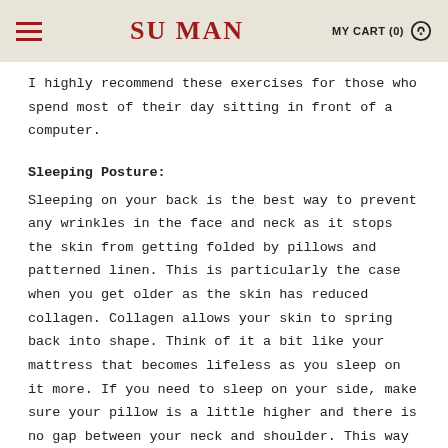SU MAN | MY CART (0)
I highly recommend these exercises for those who spend most of their day sitting in front of a computer.
Sleeping Posture:
Sleeping on your back is the best way to prevent any wrinkles in the face and neck as it stops the skin from getting folded by pillows and patterned linen. This is particularly the case when you get older as the skin has reduced collagen. Collagen allows your skin to spring back into shape. Think of it a bit like your mattress that becomes lifeless as you sleep on it more. If you need to sleep on your side, make sure your pillow is a little higher and there is no gap between your neck and shoulder. This way you are resisting downward pulling forces.